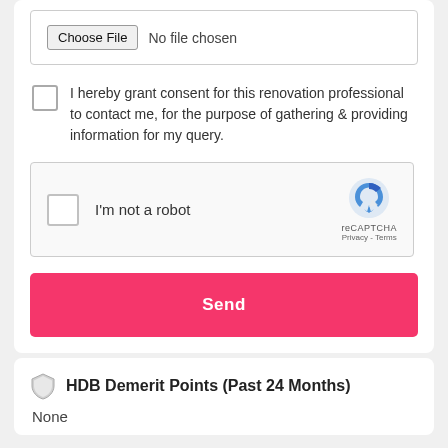[Figure (screenshot): File chooser UI element showing a 'Choose File' button and 'No file chosen' text inside a bordered box]
I hereby grant consent for this renovation professional to contact me, for the purpose of gathering & providing information for my query.
[Figure (screenshot): reCAPTCHA widget with checkbox labeled 'I'm not a robot', reCAPTCHA logo, Privacy and Terms links]
Send
HDB Demerit Points (Past 24 Months)
None